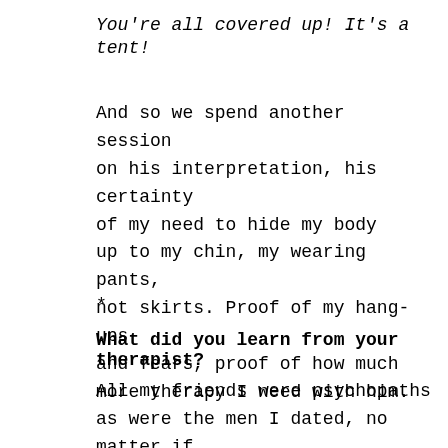You're all covered up! It's a tent!
And so we spend another session on his interpretation, his certainty of my need to hide my body up to my chin, my wearing pants, not skirts. Proof of my hang-ups and fears, proof of how much more therapy I need with him.
*
What did you learn from your therapist?
All my friends were psychopaths as were the men I dated, no matter if I met them in church or bars. I was easily